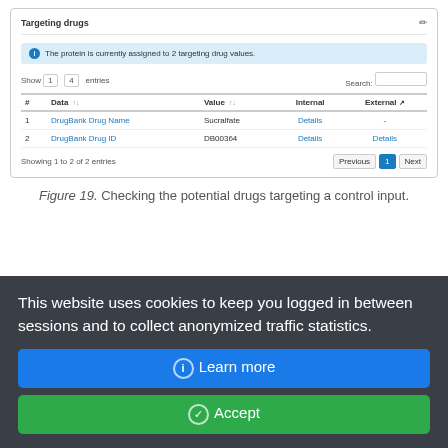[Figure (screenshot): Screenshot of a web UI panel titled 'Targeting drugs' showing a table with 2 entries: DrugBank Drug Name/Sucralfate/Details/-, and DrugBank Drug ID/DB00364/Details/Details. Info banner says 'The protein is currently assigned to 2 targeting drug values.' Pagination shows 'Showing 1 to 2 of 2 entries' with Previous/1/Next buttons.]
Figure 19. Checking the potential drugs targeting a control input.
This website uses cookies to keep you logged in between sessions and to collect anonymized traffic statistics.
ⓘ Learn more
✓ Accept